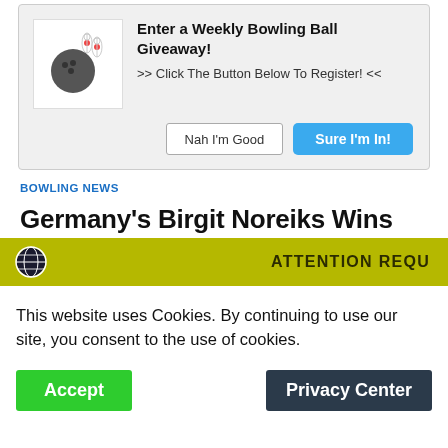[Figure (infographic): Bowling ball giveaway popup with bowling ball and pins icon, headline, subtext, and two buttons (Nah I'm Good, Sure I'm In!)]
BOWLING NEWS
Germany's Birgit Noreiks Wins 2022 USBC Queens for First Career Major Title
May 25, 2022 - by Thebowlingnews59 - 1 Comment
[Figure (screenshot): Cookie consent overlay with yellow header showing globe icon and 'ATTENTION REQU...' text, cookie notice text, and Accept / Privacy Center buttons]